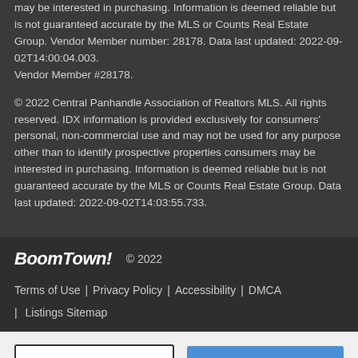may be interested in purchasing. Information is deemed reliable but is not guaranteed accurate by the MLS or Counts Real Estate Group. Vendor Member number: 28178. Data last updated: 2022-09-02T14:00:04.003.
Vendor Member #28178.
© 2022 Central Panhandle Association of Realtors MLS. All rights reserved. IDX information is provided exclusively for consumers' personal, non-commercial use and may not be used for any purpose other than to identify prospective properties consumers may be interested in purchasing. Information is deemed reliable but is not guaranteed accurate by the MLS or Counts Real Estate Group. Data last updated: 2022-09-02T14:03:55.733.
BoomTown! © 2022 | Terms of Use | Privacy Policy | Accessibility | DMCA | Listings Sitemap
Take a Tour    Ask A Question